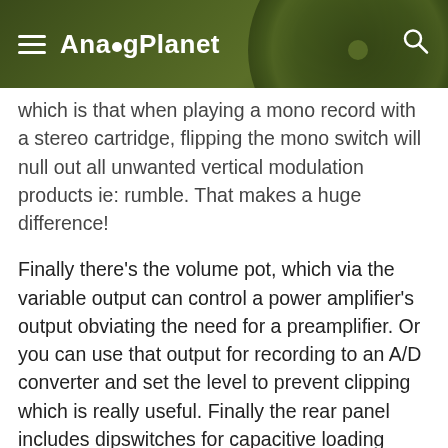AnalogPlanet
which is that when playing a mono record with a stereo cartridge, flipping the mono switch will null out all unwanted vertical modulation products ie: rumble. That makes a huge difference!
Finally there’s the volume pot, which via the variable output can control a power amplifier’s output obviating the need for a preamplifier. Or you can use that output for recording to an A/D converter and set the level to prevent clipping which is really useful. Finally the rear panel includes dipswitches for capacitive loading choices of 100pF, 220pF or 320pF as well as a ground terminal.
Slee provides an outboard PSU1 power supply that